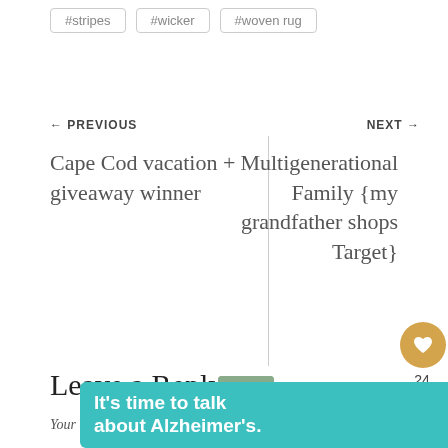#stripes
#wicker
#woven rug
← PREVIOUS
NEXT →
Cape Cod vacation + giveaway winner
Multigenerational Family {my grandfather shops Target}
24
Leave a Reply
WHAT'S NEXT → Our summer covered por...
Your email address will not be published. Required
It's time to talk about Alzheimer's.
LEARN MORE